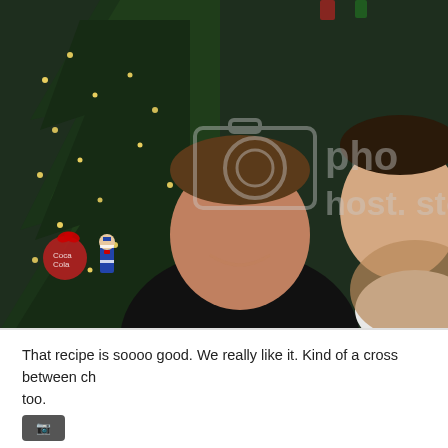[Figure (photo): A Christmas photo of a smiling man in a black shirt standing in front of a Christmas tree decorated with lights and ornaments including a nutcracker and a Coca-Cola ornament. A young woman in a white top and tan jacket is partially visible on the right. A photo hosting watermark (camera icon and 'photobucket' or similar text) is overlaid on the upper right portion of the image.]
That recipe is soooo good. We really like it. Kind of a cross between ch too.